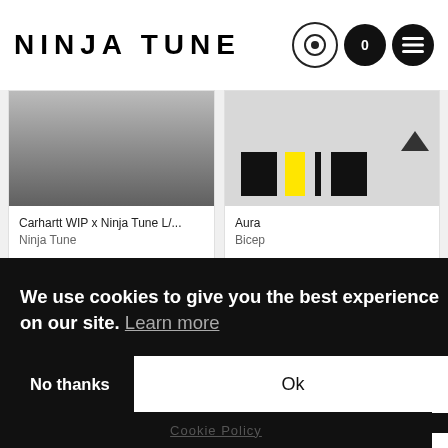NINJA TUNE
Carhartt WIP x Ninja Tune L/...
Ninja Tune
Aura
Bicep
Contact Us
About Us
Customer Support
Big Dada
Counter
Brainfeeder
We use cookies to give you the best experience on our site. Learn more
No thanks
Ok
Cookie Policy